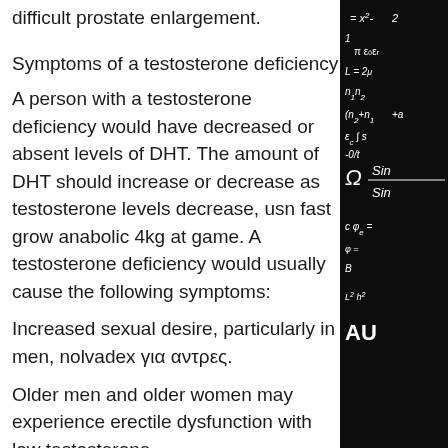difficult prostate enlargement.
Symptoms of a testosterone deficiency
A person with a testosterone deficiency would have decreased or absent levels of DHT. The amount of DHT should increase or decrease as testosterone levels decrease, usn fast grow anabolic 4kg at game. A testosterone deficiency would usually cause the following symptoms:
Increased sexual desire, particularly in men, nolvadex για αντρες.
Older men and older women may experience erectile dysfunction with low testosterone.
Some men with a testosterone deficiency may experience low libido or arousal. They may only be able to achieve orgasm with an
[Figure (photo): Blackboard with white chalk mathematical equations and formulas including trigonometric functions, integrals, and variables such as x2, epsilon, n1, n2, sin, phi, AU.]